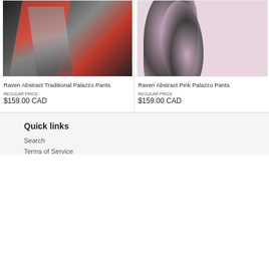[Figure (photo): Product photo of Raven Abstract Traditional Palazzo Pants - black fabric with red and grey geometric abstract pattern]
[Figure (photo): Product photo of Raven Abstract Pink Palazzo Pants - black fabric with pink and mauve swirling abstract pattern]
Raven Abstract Traditional Palazzo Pants
$159.00 CAD
Raven Abstract Pink Palazzo Pants
$159.00 CAD
Quick links
Search
Terms of Service